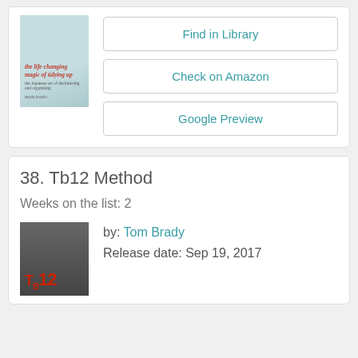[Figure (illustration): Book cover for 'the life-changing magic of tidying up' by Marie Kondo, teal/blue gradient background]
Find in Library
Check on Amazon
Google Preview
38. Tb12 Method
Weeks on the list: 2
[Figure (photo): Photo of Tom Brady on TB12 Method book cover, dark background with red TB12 logo]
by: Tom Brady
Release date: Sep 19, 2017